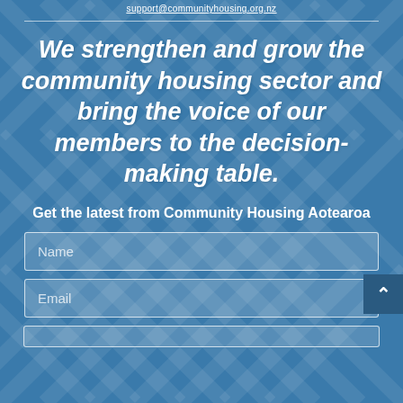support@communityhousing.org.nz
We strengthen and grow the community housing sector and bring the voice of our members to the decision-making table.
Get the latest from Community Housing Aotearoa
Name
Email